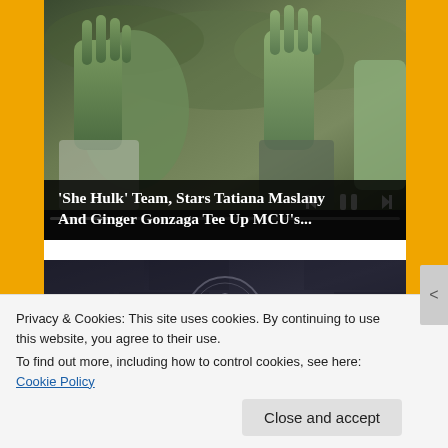[Figure (screenshot): Video thumbnail showing two green-skinned figures (She-Hulk characters) with hands raised, outdoor setting. Video player controls visible at bottom with progress bar and transport buttons.]
'She Hulk' Team, Stars Tatiana Maslany And Ginger Gonzaga Tee Up MCU's...
[Figure (photo): Dark image showing a dragon sigil/seal emblem on a stone wall background, likely from House of the Dragon or Game of Thrones.]
Privacy & Cookies: This site uses cookies. By continuing to use this website, you agree to their use.
To find out more, including how to control cookies, see here: Cookie Policy